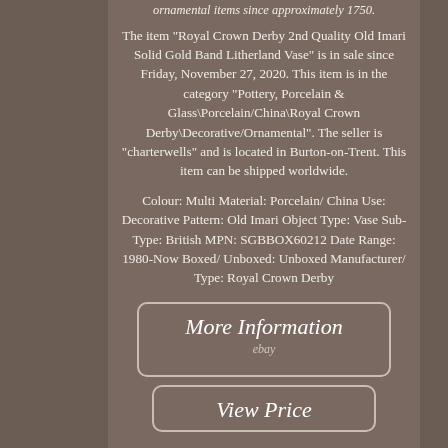ornamental items since approximately 1750.
The item "Royal Crown Derby 2nd Quality Old Imari Solid Gold Band Litherland Vase" is in sale since Friday, November 27, 2020. This item is in the category "Pottery, Porcelain & Glass\Porcelain/China\Royal Crown Derby\Decorative/Ornamental". The seller is "charterwells" and is located in Burton-on-Trent. This item can be shipped worldwide.
Colour: Multi Material: Porcelain/ China Use: Decorative Pattern: Old Imari Object Type: Vase Sub-Type: British MPN: SGBBOX60212 Date Range: 1980-Now Boxed/ Unboxed: Unboxed Manufacturer/ Type: Royal Crown Derby
[Figure (screenshot): Button labeled 'More Information' with eBay logo below]
[Figure (screenshot): Button labeled 'View Price' partially visible at bottom]